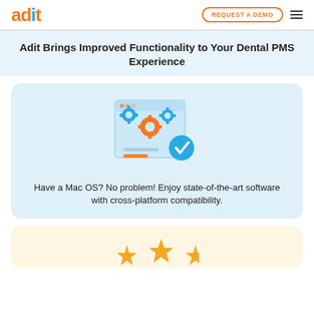adit | REQUEST A DEMO
Adit Brings Improved Functionality to Your Dental PMS Experience
[Figure (illustration): Browser window with gear icons (blue and orange) and a blue checkmark circle, representing software/cross-platform compatibility]
Have a Mac OS? No problem! Enjoy state-of-the-art software with cross-platform compatibility.
[Figure (illustration): Star rating icons (partial, golden stars visible at bottom)]